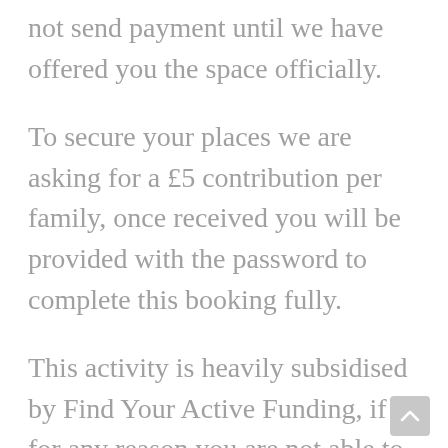not send payment until we have offered you the space officially.
To secure your places we are asking for a £5 contribution per family, once received you will be provided with the password to complete this booking fully.
This activity is heavily subsidised by Find Your Active Funding, if for any reason you are not able to attend please let us know asap. Failure to attend without any contact will result in you being blocked from future Base Jump sessions. We need to ensure we